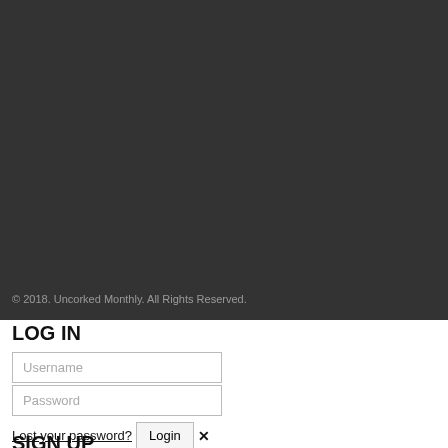[Figure (other): Dark gray background area filling approximately top 72% of the page, representing a website header or hero image area.]
© 2018. Uncorked Monthly. All Rights Reserved.
LOG IN
Username
Password
Lost your password?  Login  ✕
SIGN UP